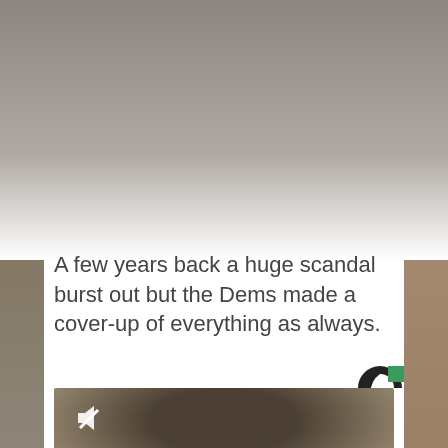[Figure (photo): Background photo showing people, partially visible on left and right strips, mostly obscured by white card overlay in center]
A few years back a huge scandal burst out but the Dems made a cover-up of everything as always.
[Figure (logo): Circular logo — black C shape with green square accent, resembling a media outlet logo]
[Figure (photo): Video thumbnail showing a dark blurred scene with what appears to be furniture/objects, mute icon in top-left corner, pink chevron watermark in bottom-right]